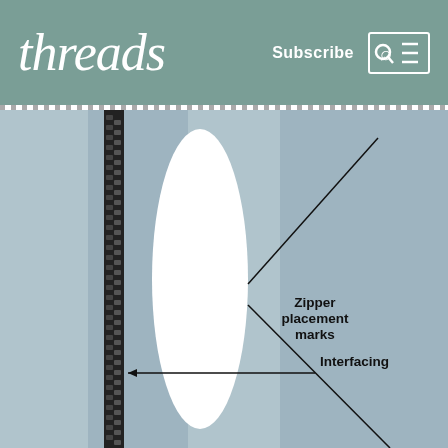threads  Subscribe
[Figure (photo): Close-up photo of fabric pieces with a zipper strip on the left side, a white gap/opening in the center, and blue-gray fabric panels. Two annotation labels point to 'Zipper placement marks' and 'Interfacing'.]
Zipper placement marks
Interfacing